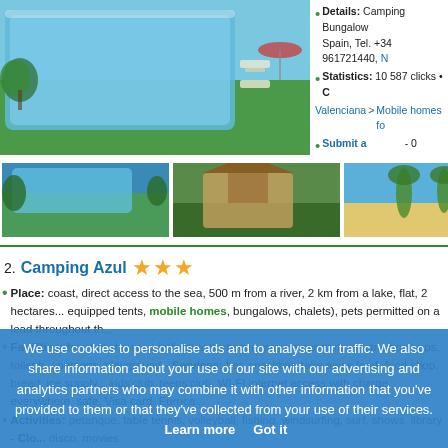[Figure (photo): Aerial view of swimming pool and green grounds at camping site]
Details: Camping Bungalow Spain, Tel. +34 961721440,
Statistics: 10 587 clicks • Category: Valenciana > Mobile homes fo...
Submit a comment - 0 com...
[Figure (photo): Thumbnail: Swimming pool area with trees]
[Figure (photo): Thumbnail: Wooden cabin/bungalow]
[Figure (photo): Thumbnail: Beach with palm trees]
[Figure (photo): Thumbnail: Coastal view]
2. Camping Azul ★★★
Place: coast, direct access to the sea, 500 m from a river, 2 km from a lake, flat, 2 hectares... equipped tents, mobile homes, bungalows, chalets), pets permitted on a lead throughout th...
Facilities: free hot showers, individual barbecue, private car park, electric hook-ups, toilet b... persons, playground - Services: bar, snackbar, take away food, food shop, bread, ice supply... kids'club, teens'club, WI-FI internet access with charge everywhere, safe, Visa card, Euroca...
Activities: petanque, table tennis, volleyball, fishing, windsurfing, surf, shows, library - Clos... disco, movies
Details: Camping Azul, Calle Camping Azul, 1, Apartado de correos 96, 46780 Oliva, Valen...
Statistics: 1 555 clicks • Category: Mobile homes for hire Spain > Mobile homes for hire C...
We use cookies to personalise ads and to analyse our traffic. We also share information about your use of our site with our advertising and analytics partners who may combine it with other information that you've provided to them or that they've collected from your use of their services. Learn more Got it